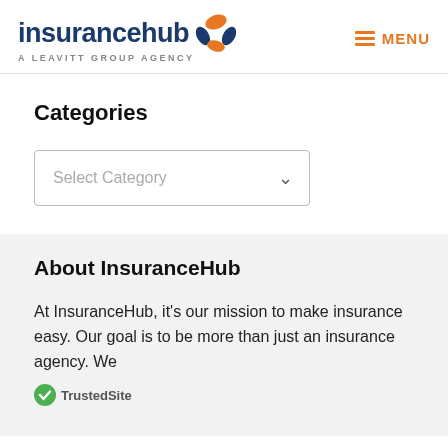[Figure (logo): InsuranceHub logo with orange and blue circular icon, text 'insurancehub' in dark blue, subtitle 'A LEAVITT GROUP AGENCY']
Categories
[Figure (screenshot): Select Category dropdown input box with chevron arrow]
About InsuranceHub
At InsuranceHub, it's our mission to make insurance easy. Our goal is to be more than just an insurance agency. We
[Figure (logo): TrustedSite badge with green checkmark]